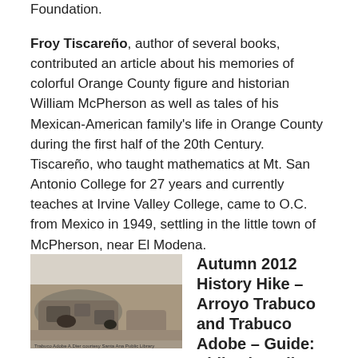Foundation.
Froy Tiscareño, author of several books, contributed an article about his memories of colorful Orange County figure and historian William McPherson as well as tales of his Mexican-American family's life in Orange County during the first half of the 20th Century. Tiscareño, who taught mathematics at Mt. San Antonio College for 27 years and currently teaches at Irvine Valley College, came to O.C. from Mexico in 1949, settling in the little town of McPherson, near El Modena.
[Figure (photo): Black and white historical photograph of adobe ruins or rock structures in a landscape, with small caption text at bottom.]
Autumn 2012 History Hike – Arroyo Trabuco and Trabuco Adobe – Guide: Phil Brigandi